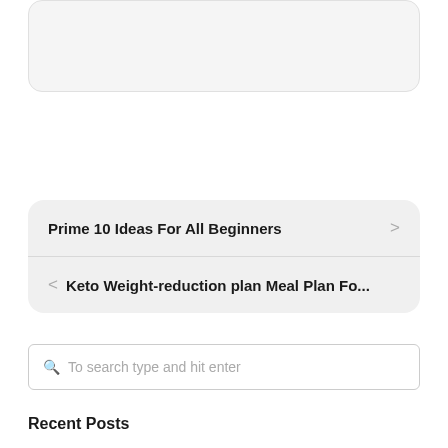[Figure (screenshot): Top card area, partially visible, light grey rounded rectangle]
Prime 10 Ideas For All Beginners
< Keto Weight-reduction plan Meal Plan Fo...
To search type and hit enter
Recent Posts